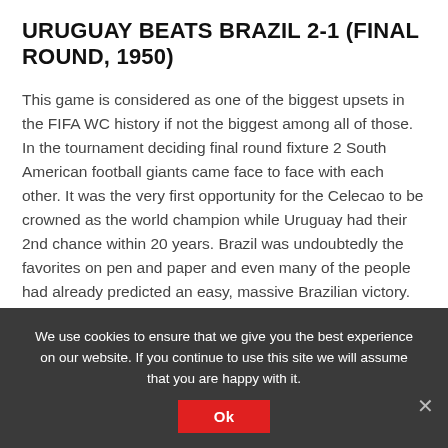URUGUAY BEATS BRAZIL 2-1 (FINAL ROUND, 1950)
This game is considered as one of the biggest upsets in the FIFA WC history if not the biggest among all of those. In the tournament deciding final round fixture 2 South American football giants came face to face with each other. It was the very first opportunity for the Celecao to be crowned as the world champion while Uruguay had their 2nd chance within 20 years. Brazil was undoubtedly the favorites on pen and paper and even many of the people had already predicted an easy, massive Brazilian victory. People had no doubt about the outcome of the game. In fact, they were predicting what would be the number of goals scored by the hosts. Friaca's 47th minute strike gave
We use cookies to ensure that we give you the best experience on our website. If you continue to use this site we will assume that you are happy with it.